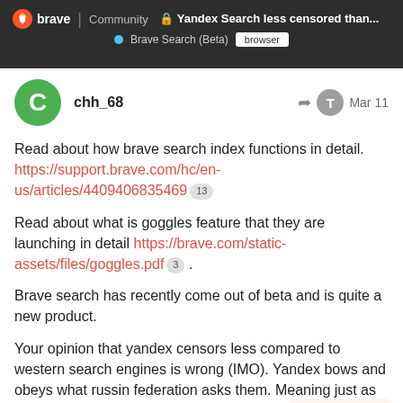Yandex Search less censored than... | Brave Search (Beta) | browser
chh_68 Mar 11
Read about how brave search index functions in detail. https://support.brave.com/hc/en-us/articles/4409406835469 13

Read about what is goggles feature that they are launching in detail https://brave.com/static-assets/files/goggles.pdf 3 .

Brave search has recently come out of beta and is quite a new product.

Your opinion that yandex censors less compared to western search engines is wrong (IMO). Yandex bows and obeys what russin federation asks them. Meaning just as some western search engines russian content, yandex will bury pro-
19 / 32